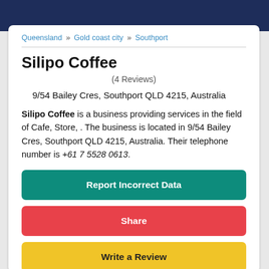Queensland » Gold coast city » Southport
Silipo Coffee
(4 Reviews)
9/54 Bailey Cres, Southport QLD 4215, Australia
Silipo Coffee is a business providing services in the field of Cafe, Store, . The business is located in 9/54 Bailey Cres, Southport QLD 4215, Australia. Their telephone number is +61 7 5528 0613.
Report Incorrect Data
Share
Write a Review